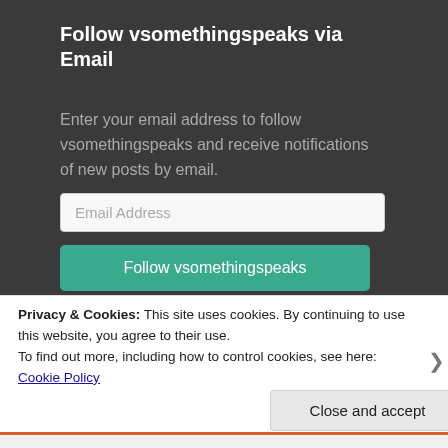Follow vsomethingspeaks via Email
Enter your email address to follow vsomethingspeaks and receive notifications of new posts by email.
Email Address
Follow vsomethingspeaks
Privacy & Cookies: This site uses cookies. By continuing to use this website, you agree to their use.
To find out more, including how to control cookies, see here: Cookie Policy
Close and accept